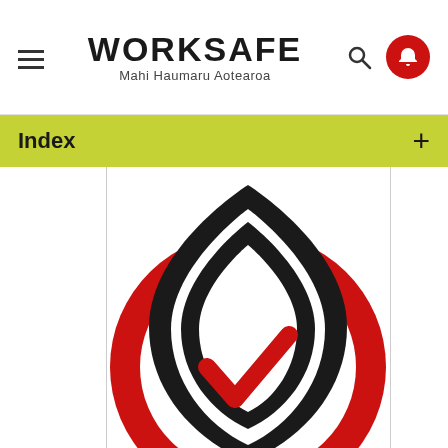[Figure (logo): WorkSafe Mahi Haumaru Aotearoa logo with hamburger menu, search icon, and bell notification icon in red circle]
Index
[Figure (logo): WorkSafe logo mark: red circular ring with black inner flame/shield shape and red checkmark in the center]